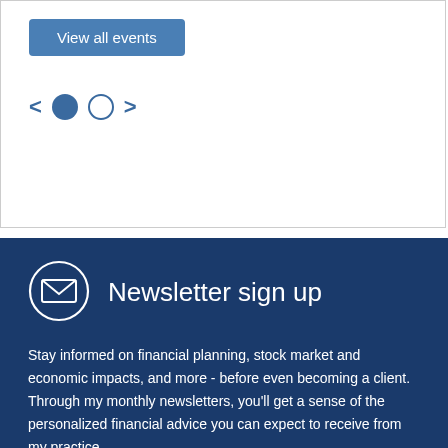[Figure (screenshot): A blue button labeled 'View all events' with rounded corners on a white background section with a border.]
[Figure (infographic): Pagination controls showing left arrow, filled blue circle, empty circle outline, and right arrow on white background.]
[Figure (illustration): Newsletter sign up section with envelope icon in a circle, title 'Newsletter sign up', and descriptive body text on dark blue background.]
Stay informed on financial planning, stock market and economic impacts, and more - before even becoming a client. Through my monthly newsletters, you'll get a sense of the personalized financial advice you can expect to receive from my practice.